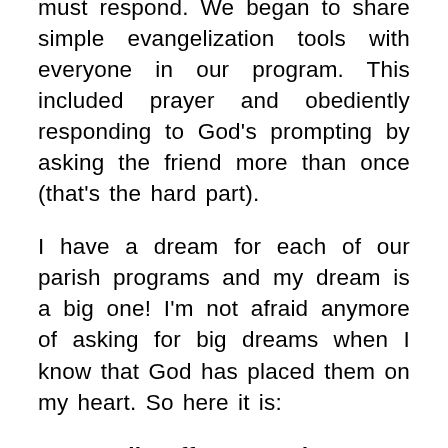must respond. We began to share simple evangelization tools with everyone in our program. This included prayer and obediently responding to God's prompting by asking the friend more than once (that's the hard part).
I have a dream for each of our parish programs and my dream is a big one! I'm not afraid anymore of asking for big dreams when I know that God has placed them on my heart. So here it is:
Let's all offer Opening Your Heart in